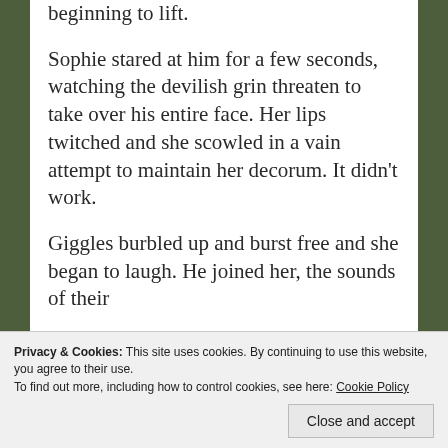beginning to lift.
Sophie stared at him for a few seconds, watching the devilish grin threaten to take over his entire face. Her lips twitched and she scowled in a vain attempt to maintain her decorum. It didn’t work.
Giggles burbled up and burst free and she began to laugh. He joined her, the sounds of their
astute judge of character
Privacy & Cookies: This site uses cookies. By continuing to use this website, you agree to their use.
To find out more, including how to control cookies, see here: Cookie Policy